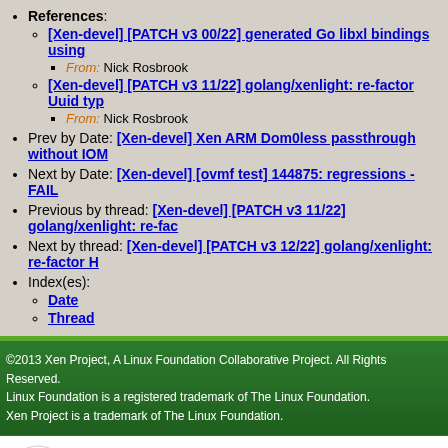References:
[Xen-devel] [PATCH v3 00/22] generated Go libxl bindings using...
From: Nick Rosbrook
[Xen-devel] [PATCH v3 11/22] golang/xenlight: re-factor Uuid typ...
From: Nick Rosbrook
Prev by Date: [Xen-devel] Xen ARM Dom0less passthrough without IOM...
Next by Date: [Xen-devel] [ovmf test] 144875: regressions - FAIL
Previous by thread: [Xen-devel] [PATCH v3 11/22] golang/xenlight: re-fac...
Next by thread: [Xen-devel] [PATCH v3 12/22] golang/xenlight: re-factor H...
Index(es):
Date
Thread
©2013 Xen Project, A Linux Foundation Collaborative Project. All Rights Reserved. Linux Foundation is a registered trademark of The Linux Foundation. Xen Project is a trademark of The Linux Foundation.
Lists.xenproject.org is hosted with RackSpace, monitoring our servers 24x7x365 and backed by RackSpace's Fanatical Support®.